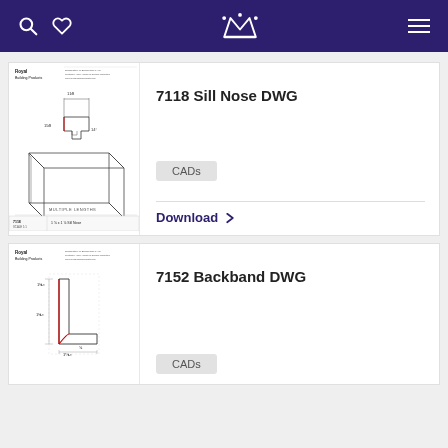Navigation bar with search, wishlist, logo, and menu icons
[Figure (engineering-diagram): Royal Building Products technical drawing of 7118 Sill Nose profile, showing cross-section dimensions and 3D length view with label '1 1/8 x 1 1/8 Sill Nose', scale 1:1]
7118 Sill Nose DWG
CADs
Download
[Figure (engineering-diagram): Royal Building Products technical drawing of 7152 Backband profile, showing cross-section with dimensions]
7152 Backband DWG
CADs